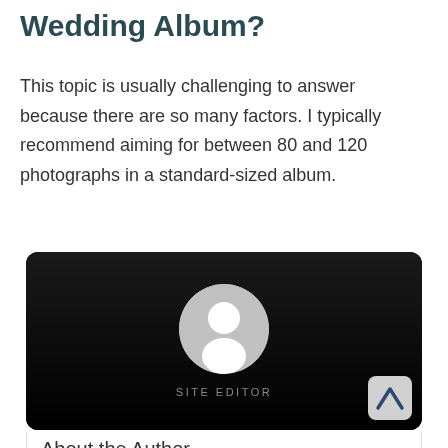Wedding Album?
This topic is usually challenging to answer because there are so many factors. I typically recommend aiming for between 80 and 120 photographs in a standard-sized album.
[Figure (illustration): Author card with dark background, generic avatar silhouette, 'SITE EDITOR' label, and a logo badge in the bottom-right corner]
About the Author